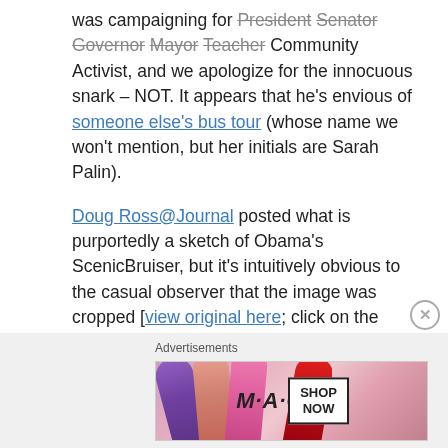was campaigning for President Senator Governor Mayor Teacher Community Activist, and we apologize for the innocuous snark – NOT. It appears that he's envious of someone else's bus tour (whose name we won't mention, but her initials are Sarah Palin).
Doug Ross@Journal posted what is purportedly a sketch of Obama's ScenicBruiser, but it's intuitively obvious to the casual observer that the image was cropped [view original here; click on the image below to enlarge].
Advertisements
[Figure (photo): MAC cosmetics advertisement showing lipsticks (purple, peach, pink, red) with MAC logo and SHOP NOW button]